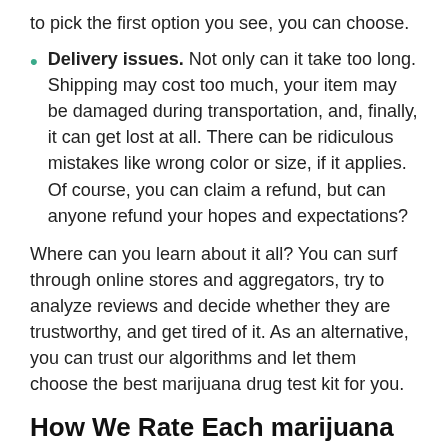to pick the first option you see, you can choose.
Delivery issues. Not only can it take too long. Shipping may cost too much, your item may be damaged during transportation, and, finally, it can get lost at all. There can be ridiculous mistakes like wrong color or size, if it applies. Of course, you can claim a refund, but can anyone refund your hopes and expectations?
Where can you learn about it all? You can surf through online stores and aggregators, try to analyze reviews and decide whether they are trustworthy, and get tired of it. As an alternative, you can trust our algorithms and let them choose the best marijuana drug test kit for you.
How We Rate Each marijuana drug test kit